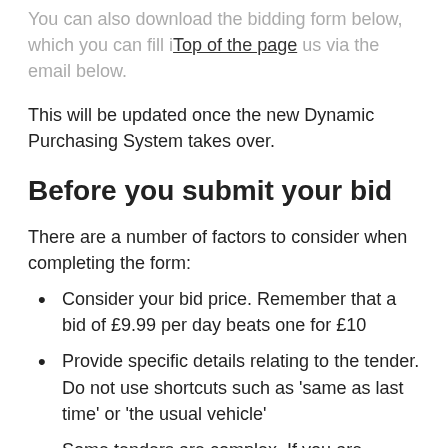You can also download the bidding form below, which you can fill in [Top of the page] and send to us via the email below.
This will be updated once the new Dynamic Purchasing System takes over.
Before you submit your bid
There are a number of factors to consider when completing the form:
Consider your bid price. Remember that a bid of £9.99 per day beats one for £10
Provide specific details relating to the tender. Do not use shortcuts such as ‘same as last time’ or ‘the usual vehicle’
Some tenders are complex. If you are unsure